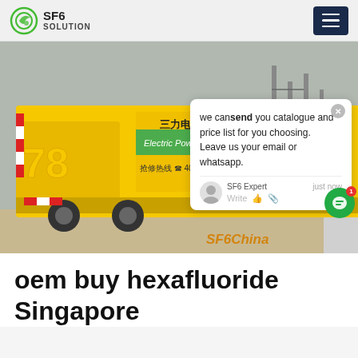SF6 SOLUTION
[Figure (photo): Yellow electric power utility truck parked in what appears to be an industrial or substation area. The truck has Chinese text and the number 78 on its side, along with text reading 'Electric Power' and a phone number '400-659-6699'. An electrical substation with metal structures is visible in the background. A chat popup overlay is visible on the right side of the image with text 'we can send you catalogue and price list for you choosing. Leave us your email or whatsapp.' The SF6Expert chat agent is shown. A watermark reads 'SF6China' in orange italic text at the bottom right.]
oem buy hexafluoride Singapore